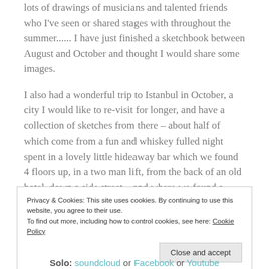lots of drawings of musicians and talented friends who I've seen or shared stages with throughout the summer...... I have just finished a sketchbook between August and October and thought I would share some images.
I also had a wonderful trip to Istanbul in October, a city I would like to re-visit for longer, and have a collection of sketches from there – about half of which come from a fun and whiskey fulled night spent in a lovely little hideaway bar which we found 4 floors up, in a two man lift, from the back of an old hotel, down a side street – and where we found a beautiful jam. Always music.
Privacy & Cookies: This site uses cookies. By continuing to use this website, you agree to their use.
To find out more, including how to control cookies, see here: Cookie Policy
Close and accept
Solo: soundcloud or Facebook or Youtube